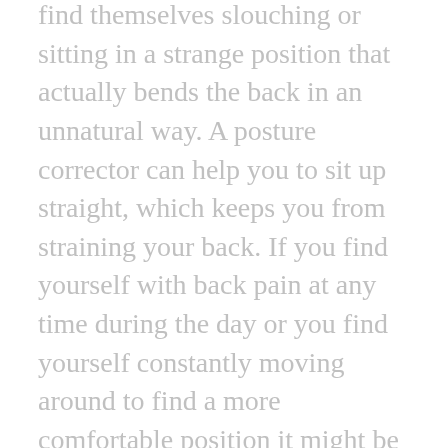find themselves slouching or sitting in a strange position that actually bends the back in an unnatural way. A posture corrector can help you to sit up straight, which keeps you from straining your back. If you find yourself with back pain at any time during the day or you find yourself constantly moving around to find a more comfortable position it might be a good idea for you. After all, bad posture can cause you serious problems if left unchecked.
If you work in a job where you are constantly lifting and moving items, especially heavy items, it might be a good idea for you to look into a posture corrector. Bending and lifting things can often result in twisting or turning in